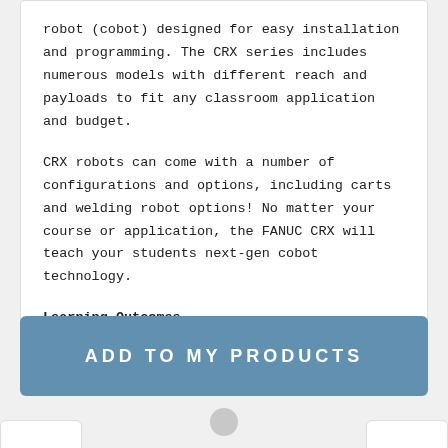robot (cobot) designed for easy installation and programming. The CRX series includes numerous models with different reach and payloads to fit any classroom application and budget.
CRX robots can come with a number of configurations and options, including carts and welding robot options! No matter your course or application, the FANUC CRX will teach your students next-gen cobot technology.
Learning Outcomes
ADD TO MY PRODUCTS